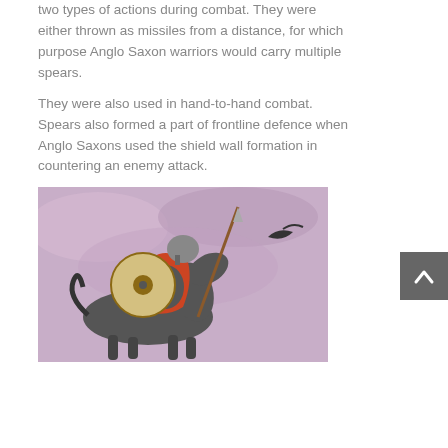two types of actions during combat. They were either thrown as missiles from a distance, for which purpose Anglo Saxon warriors would carry multiple spears.
They were also used in hand-to-hand combat. Spears also formed a part of frontline defence when Anglo Saxons used the shield wall formation in countering an enemy attack.
[Figure (illustration): Illustration of an Anglo Saxon warrior on horseback, wearing a helmet, carrying a round shield and a spear, depicted in a painterly style with a purple/pink background.]